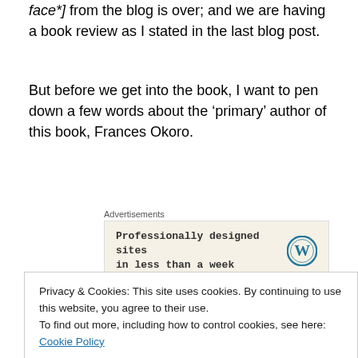face*] from the blog is over; and we are having a book review as I stated in the last blog post.
But before we get into the book, I want to pen down a few words about the ‘primary’ author of this book, Frances Okoro.
[Figure (other): Advertisements banner with WordPress logo and text 'Professionally designed sites in less than a week']
I cannot vividly remember how our paths crossed, what I do remember was the fact that I was just interested in
Privacy & Cookies: This site uses cookies. By continuing to use this website, you agree to their use.
To find out more, including how to control cookies, see here: Cookie Policy
transforming gift of transparency, and she is not afraid to